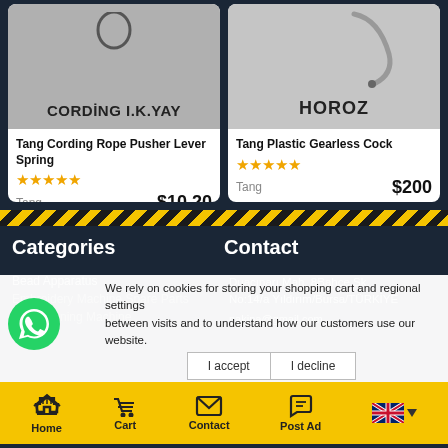[Figure (screenshot): Product card: Tang Cording Rope Pusher Lever Spring, gray background with ring hardware image, 5 stars, brand Tang, price $10.20]
[Figure (screenshot): Product card: Tang Plastic Gearless Cock, gray background with lever hardware image, 5 stars, brand Tang, price $200]
Categories
Contact
Bead Apparatus
Embroidery Machine Spare Parts
Press Ironing Machine
Duaçınarı Mah. 8Bahçe Sk. No:14/a Yıldırım/Bursa/TÜRKİYE
nakina@gmail.com
We rely on cookies for storing your shopping cart and regional settings between visits and to understand how our customers use our website.
Home | Cart | Contact | Post Ad